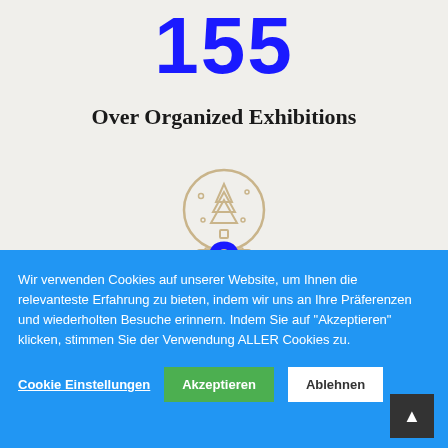155
Over Organized Exhibitions
[Figure (illustration): Snow globe icon with a Christmas tree inside, drawn in a tan/beige outline style]
0
Wir verwenden Cookies auf unserer Website, um Ihnen die relevanteste Erfahrung zu bieten, indem wir uns an Ihre Präferenzen und wiederholten Besuche erinnern. Indem Sie auf "Akzeptieren" klicken, stimmen Sie der Verwendung ALLER Cookies zu.
Cookie Einstellungen
Akzeptieren
Ablehnen